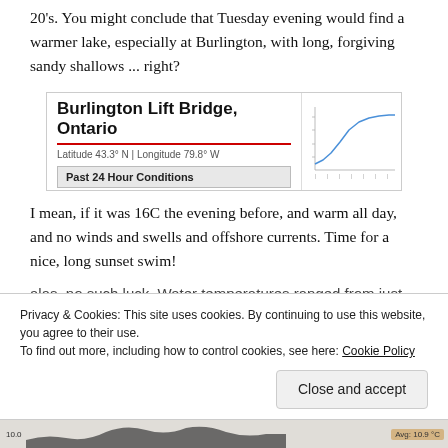20's. You might conclude that Tuesday evening would find a warmer lake, especially at Burlington, with long, forgiving sandy shallows ... right?
[Figure (screenshot): Burlington Lift Bridge, Ontario weather station box with title, coordinates (Latitude 43.3° N | Longitude 79.8° W), 'Past 24 Hour Conditions' label, and a small line chart on the right side showing temperature trend]
I mean, if it was 16C the evening before, and warm all day, and no winds and swells and offshore currents. Time for a nice, long sunset swim!
alas, no such luck. Water temperatures ranged from just
Privacy & Cookies: This site uses cookies. By continuing to use this website, you agree to their use.
To find out more, including how to control cookies, see here: Cookie Policy
Close and accept
[Figure (continuous-plot): Bottom strip showing a dark area chart of water temperature with label '10.0' on left and 'Avg: 10.9 °C' badge on right]